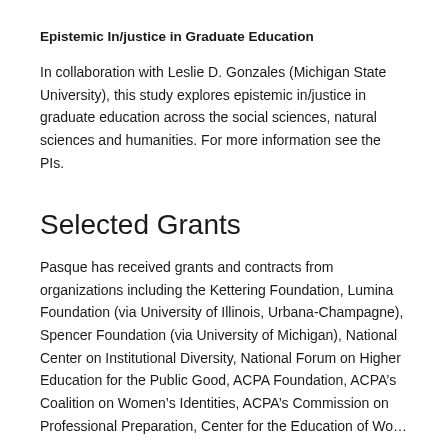Epistemic In/justice in Graduate Education
In collaboration with Leslie D. Gonzales (Michigan State University), this study explores epistemic in/justice in graduate education across the social sciences, natural sciences and humanities. For more information see the PIs.
Selected Grants
Pasque has received grants and contracts from organizations including the Kettering Foundation, Lumina Foundation (via University of Illinois, Urbana-Champagne), Spencer Foundation (via University of Michigan), National Center on Institutional Diversity, National Forum on Higher Education for the Public Good, ACPA Foundation, ACPA’s Coalition on Women’s Identities, ACPA’s Commission on Professional Preparation, Center for the Education of Women...